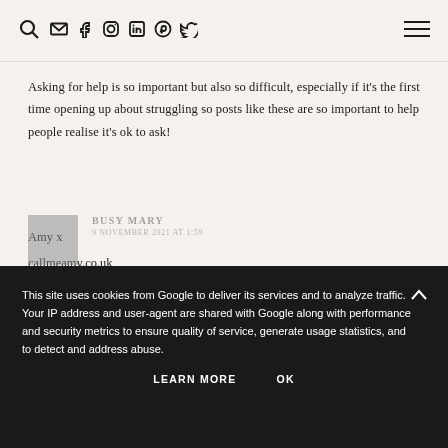Search, Email, Facebook, Instagram, LinkedIn, Pinterest, Twitter icons; hamburger menu
Asking for help is so important but also so difficult, especially if it's the first time opening up about struggling so posts like these are so important to help people realise it's ok to ask!
Amy x
callmeamy.co.uk
REPLY
This site uses cookies from Google to deliver its services and to analyze traffic. Your IP address and user-agent are shared with Google along with performance and security metrics to ensure quality of service, generate usage statistics, and to detect and address abuse.
LEARN MORE   OK
It can be difficult lovely, especially if you feel you have no